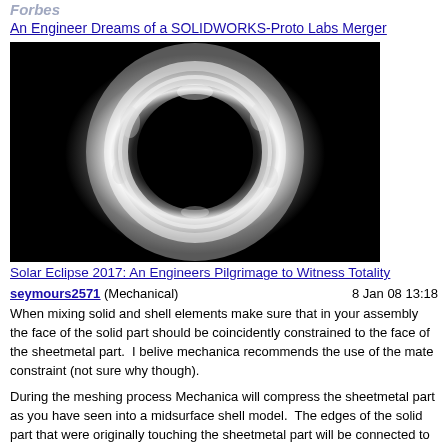Forbes
An Engineer Dreams of a SOLIDWORKS-Proto Labs Merger
[Figure (photo): Solar eclipse photograph showing dark moon disc surrounded by white solar corona against black sky]
Solar Eclipse 2017: An Engineers Pilgrimage to Witness Totality
seymours2571 (Mechanical)   8 Jan 08 13:18
When mixing solid and shell elements make sure that in your assembly the face of the solid part should be coincidently constrained to the face of the sheetmetal part.  I belive mechanica recommends the use of the mate constraint (not sure why though).
During the meshing process Mechanica will compress the sheetmetal part as you have seen into a midsurface shell model.  The edges of the solid part that were originally touching the sheetmetal part will be connected to